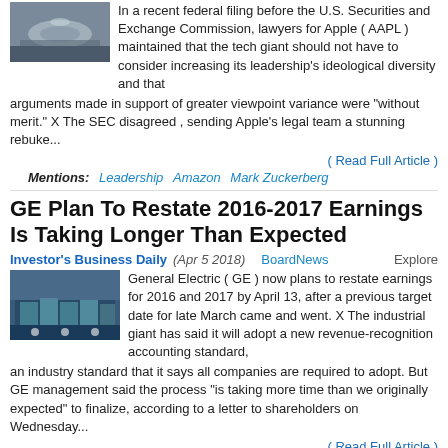In a recent federal filing before the U.S. Securities and Exchange Commission, lawyers for Apple ( AAPL ) maintained that the tech giant should not have to consider increasing its leadership's ideological diversity and that arguments made in support of greater viewpoint variance were "without merit." X The SEC disagreed , sending Apple's legal team a stunning rebuke...
( Read Full Article )
Mentions: Leadership  Amazon  Mark Zuckerberg
GE Plan To Restate 2016-2017 Earnings Is Taking Longer Than Expected
Investor's Business Daily (Apr 5 2018)  BoardNews  Explore
General Electric ( GE ) now plans to restate earnings for 2016 and 2017 by April 13, after a previous target date for late March came and went. X The industrial giant has said it will adopt a new revenue-recognition accounting standard, an industry standard that it says all companies are required to adopt. But GE management said the process "is taking more time than we originally expected" to finalize, according to a letter to shareholders on Wednesday...
( Read Full Article )
Mentions: General Electric  Board of Directors